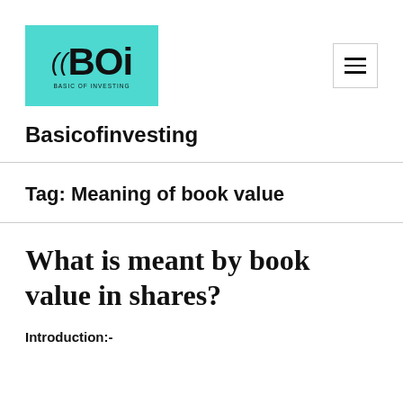[Figure (logo): BOI (Basicofinvesting) logo on teal/cyan background with hamburger menu button on the right]
Basicofinvesting
Tag: Meaning of book value
What is meant by book value in shares?
Introduction:-